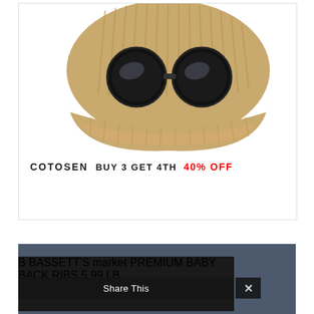[Figure (photo): A tan/khaki ribbed knit beanie hat with integrated goggle lenses (two large circular dark goggle frames with reflective lenses), displayed on a white background. The hat is folded open at the bottom showing a fleece lining.]
COTOSEN BUY 3 GET 4TH 40% OFF
[Figure (photo): Bassett's Market advertisement banner showing premium baby back ribs. Features the Bassett's Market logo (circular logo with stylized B), text 'PREMIUM BABY BACK RIBS' in large bold white letters, and a price of '$5.99 LB.' with 'SAVE $1.00/LB.' below. Background shows an image of ribs.]
Share This